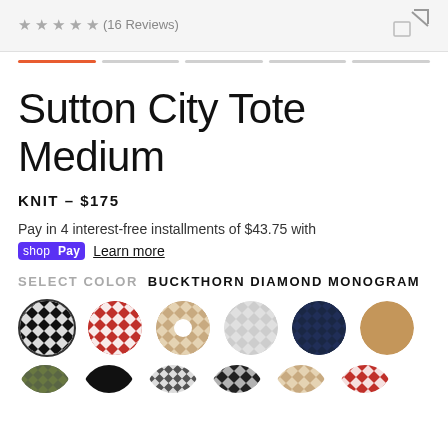(16 Reviews)
Sutton City Tote Medium
KNIT – $175
Pay in 4 interest-free installments of $43.75 with shop Pay Learn more
SELECT COLOR  BUCKTHORN DIAMOND MONOGRAM
[Figure (illustration): Color swatches row 1: black/white diamond, red/white diamond, tan/white diamond, white/grey diamond, navy solid, camel solid]
[Figure (illustration): Color swatches row 2 (partial): olive, black, black/white small, black/white large, tan diamond, red diamond]